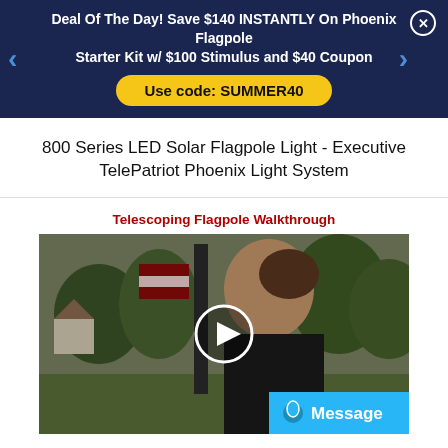Deal Of The Day! Save $140 INSTANTLY On Phoenix Flagpole Starter Kit w/ $100 Stimulus and $40 Coupon
Use code: SUMMER40
800 Series LED Solar Flagpole Light - Executive TelePatriot Phoenix Light System
Telescoping Flagpole Walkthrough
[Figure (screenshot): Video thumbnail showing a woman outdoors next to a telescoping flagpole with an American flag. A circular white play button overlay is centered on the image. A cyan 'Message' badge with alien icon appears in the bottom right corner.]